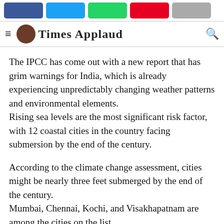Times Applaud
The IPCC has come out with a new report that has grim warnings for India, which is already experiencing unpredictably changing weather patterns and environmental elements. Rising sea levels are the most significant risk factor, with 12 coastal cities in the country facing submersion by the end of the century.
According to the climate change assessment, cities might be nearly three feet submerged by the end of the century. Mumbai, Chennai, Kochi, and Visakhapatnam are among the cities on the list.
Nasa conducted the research after consulting the